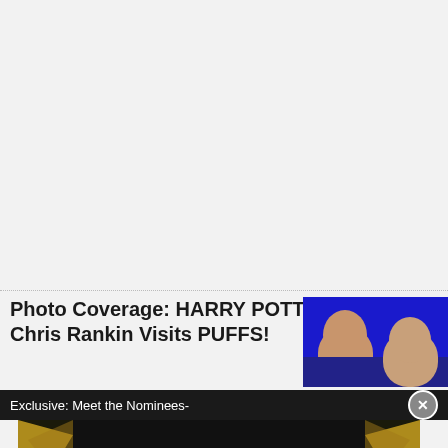[Figure (other): Light gray empty content area (top of webpage)]
Photo Coverage: HARRY POTTER Alum Chris Rankin Visits PUFFS!
[Figure (photo): Thumbnail photo of a man with brown hair against a blue background]
Exclusive: Meet the Nominees-
[Figure (other): Advertisement for The Book of Mormon - GET 2-FOR-1 TICKETS DURING NYC BROADWAY WEEK • SEPTEMBER 6-25 USE CODE BWAYWK - GET TICKETS button]